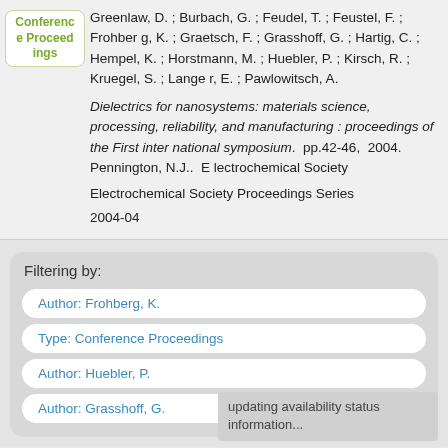Conference Proceedings
Greenlaw, D. ; Burbach, G. ; Feudel, T. ; Feustel, F. ; Frohberg, K. ; Graetsch, F. ; Grasshoff, G. ; Hartig, C. ; Hempel, K. ; Horstmann, M. ; Huebler, P. ; Kirsch, R. ; Kruegel, S. ; Langer, E. ; Pawlowitsch, A.
Dielectrics for nanosystems: materials science, processing, reliability, and manufacturing : proceedings of the First international symposium.  pp.42-46,  2004.  Pennington, N.J..  Electrochemical Society
Electrochemical Society Proceedings Series
2004-04
Filtering by:
Author: Frohberg, K.
Type: Conference Proceedings
Author: Huebler, P.
Author: Grasshoff, G.
updating availability status information...